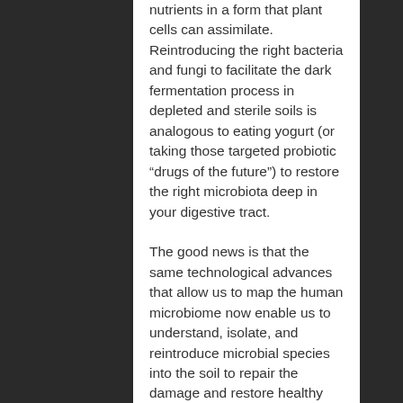nutrients in a form that plant cells can assimilate. Reintroducing the right bacteria and fungi to facilitate the dark fermentation process in depleted and sterile soils is analogous to eating yogurt (or taking those targeted probiotic “drugs of the future”) to restore the right microbiota deep in your digestive tract.
The good news is that the same technological advances that allow us to map the human microbiome now enable us to understand, isolate, and reintroduce microbial species into the soil to repair the damage and restore healthy microbial communities that sustain our crops and provide nutritious